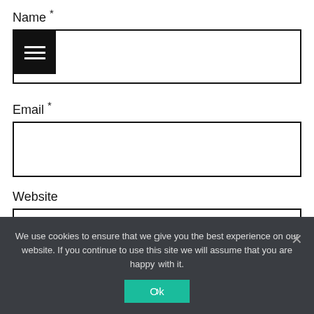Name *
[Figure (screenshot): Name input field with black hamburger menu icon on left]
Email *
[Figure (screenshot): Email input text box, empty]
[Figure (other): Facebook icon on right side]
[Figure (other): Share/link icon on right side]
Website
[Figure (screenshot): Website input text box, empty]
We use cookies to ensure that we give you the best experience on our website. If you continue to use this site we will assume that you are happy with it.